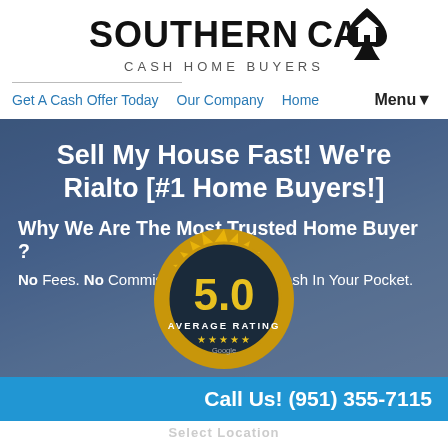[Figure (logo): Southern CA Cash Home Buyers logo with house/spade icon]
Get A Cash Offer Today   Our Company   Home   Menu▼
Sell My House Fast! We're Rialto [#1 Home Buyers!]
Why We Are The Most Trusted Home Buyer ?
No Fees. No Commissions. Put More Cash In Your Pocket.
[Figure (illustration): Gold badge seal showing 5.0 Average Rating with Google stars]
Call Us! (951) 355-7115